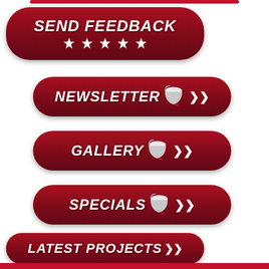[Figure (infographic): SEND FEEDBACK button with 5 stars, dark red pill-shaped button]
[Figure (infographic): NEWSLETTER button with paint bucket and chevron, dark red pill-shaped button]
[Figure (infographic): GALLERY button with paint bucket and chevron, dark red pill-shaped button]
[Figure (infographic): SPECIALS button with paint bucket and chevron, dark red pill-shaped button]
[Figure (infographic): LATEST PROJECTS button with chevron, dark red pill-shaped button]